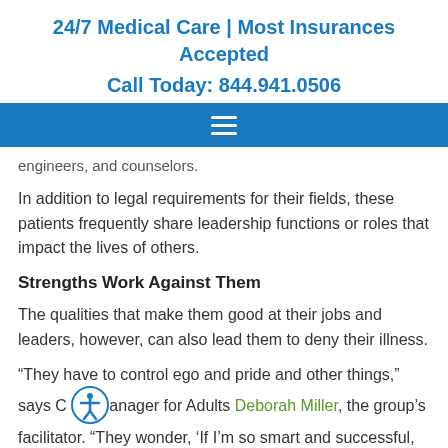24/7 Medical Care | Most Insurances Accepted
Call Today: 844.941.0506
[Figure (other): Blue navigation bar with hamburger menu icon (three white horizontal lines)]
engineers, and counselors.
In addition to legal requirements for their fields, these patients frequently share leadership functions or roles that impact the lives of others.
Strengths Work Against Them
The qualities that make them good at their jobs and leaders, however, can also lead them to deny their illness.
“They have to control ego and pride and other things,” says C[accessibility icon]anager for Adults Deborah Miller, the group’s facilitator. "They wonder, 'If I'm so smart and successful,